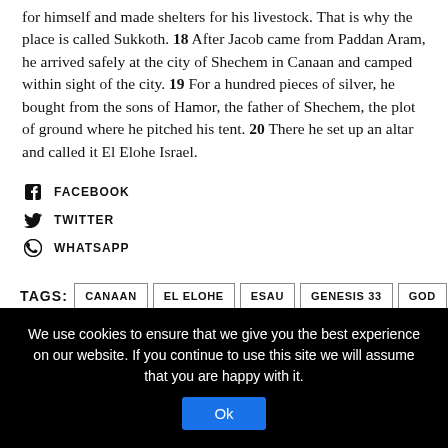for himself and made shelters for his livestock. That is why the place is called Sukkoth. 18 After Jacob came from Paddan Aram, he arrived safely at the city of Shechem in Canaan and camped within sight of the city. 19 For a hundred pieces of silver, he bought from the sons of Hamor, the father of Shechem, the plot of ground where he pitched his tent. 20 There he set up an altar and called it El Elohe Israel.
FACEBOOK
TWITTER
WHATSAPP
TAGS: CANAAN, EL ELOHE, ESAU, GENESIS 33, GOD, HAMOR, JACOB, JOSEPH, LEAH, LORD, OLD TESTAMENT, PADDAN ARAM, RACHEL, SEIR
We use cookies to ensure that we give you the best experience on our website. If you continue to use this site we will assume that you are happy with it.